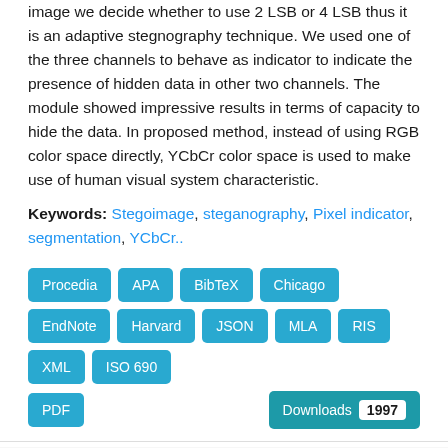image we decide whether to use 2 LSB or 4 LSB thus it is an adaptive stegnography technique. We used one of the three channels to behave as indicator to indicate the presence of hidden data in other two channels. The module showed impressive results in terms of capacity to hide the data. In proposed method, instead of using RGB color space directly, YCbCr color space is used to make use of human visual system characteristic.
Keywords: Stegoimage, steganography, Pixel indicator, segmentation, YCbCr..
Procedia APA BibTeX Chicago EndNote Harvard JSON MLA RIS XML ISO 690 PDF Downloads 1997
135 A Dynamic RGB Intensity Based Steganography Scheme